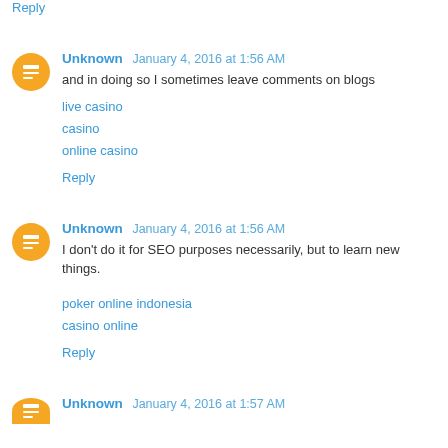Reply
Unknown January 4, 2016 at 1:56 AM
and in doing so I sometimes leave comments on blogs
live casino
casino
online casino
Reply
Unknown January 4, 2016 at 1:56 AM
I don't do it for SEO purposes necessarily, but to learn new things.
poker online indonesia
casino online
Reply
Unknown January 4, 2016 at 1:57 AM